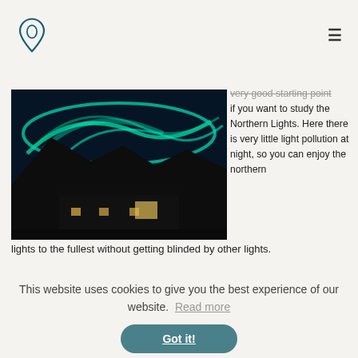[logo] [hamburger menu]
[Figure (photo): A nighttime photo of a building with northern lights (aurora borealis) glowing green in the sky above snowy mountains.]
very good starting point if you want to study the Northern Lights. Here there is very little light pollution at night, so you can enjoy the northern lights to the fullest without getting blinded by other lights.
This website uses cookies to give you the best experience of our website. Read more
Got it!